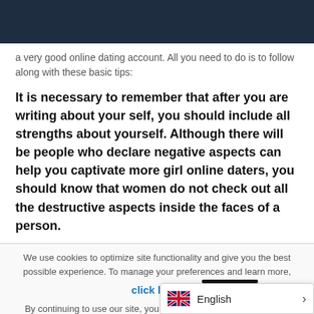a very good online dating account. All you need to do is to follow along with these basic tips:
It is necessary to remember that after you are writing about your self, you should include all strengths about yourself. Although there will be people who declare negative aspects can help you captivate more girl online daters, you should know that women do not check out all the destructive aspects inside the faces of a person.
We use cookies to optimize site functionality and give you the best possible experience. To manage your preferences and learn more, click here. By continuing to use our site, you consent to the use of cookies in according with our po
English